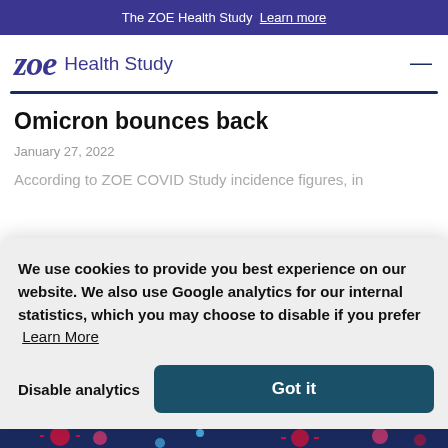The ZOE Health Study  Learn more
[Figure (logo): ZOE Health Study logo with stylized italic 'zoe' in dark blue and 'Health Study' text beside it]
Omicron bounces back
January 27, 2022
According to ZOE COVID Study incidence figures, in
We use cookies to provide you best experience on our website. We also use Google analytics for our internal statistics, which you may choose to disable if you prefer  Learn More
Disable analytics
Got it
[Figure (illustration): Dark blue background with colorful virus/COVID particle illustrations at the bottom of the page]